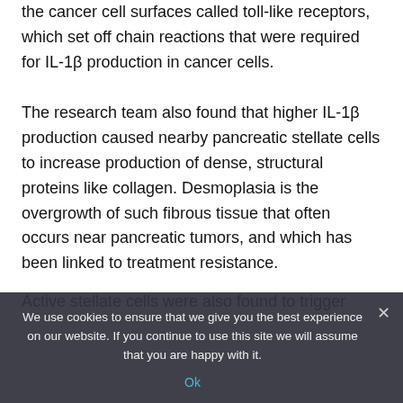the cancer cell surfaces called toll-like receptors, which set off chain reactions that were required for IL-1β production in cancer cells.
The research team also found that higher IL-1β production caused nearby pancreatic stellate cells to increase production of dense, structural proteins like collagen. Desmoplasia is the overgrowth of such fibrous tissue that often occurs near pancreatic tumors, and which has been linked to treatment resistance.
Active stellate cells were also found to trigger
We use cookies to ensure that we give you the best experience on our website. If you continue to use this site we will assume that you are happy with it.